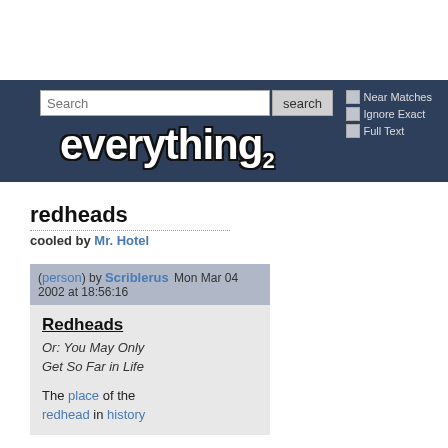[Figure (screenshot): Everything2 website header with search bar, search button, Near Matches/Ignore Exact/Full Text checkboxes, and the Everything2 logo in white bold text on dark blue background]
redheads
cooled by Mr. Hotel
(person) by Scriblerus Mon Mar 04 2002 at 18:56:16
Redheads
Or: You May Only Get So Far in Life
The place of the redhead in history